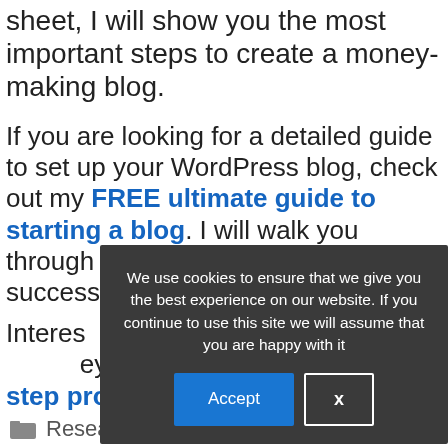sheet, I will show you the most important steps to create a money-making blog.
If you are looking for a detailed guide to set up your WordPress blog, check out my FREE ultimate guide to starting a blog. I will walk you through the process to set up a successful WordPress blog.
Interested in making money online? Check out my 4-step process to earn an income online
[Figure (screenshot): Cookie consent popup overlay with dark background saying 'We use cookies to ensure that we give you the best experience on our website. If you continue to use this site we will assume that you are happy with it' with Accept and X buttons]
Research & comments